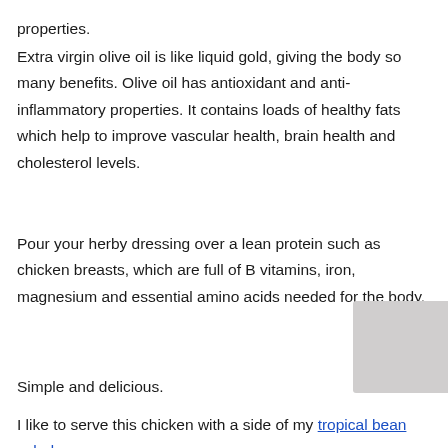properties.
Extra virgin olive oil is like liquid gold, giving the body so many benefits. Olive oil has antioxidant and anti-inflammatory properties. It contains loads of healthy fats which help to improve vascular health, brain health and cholesterol levels.
Pour your herby dressing over a lean protein such as chicken breasts, which are full of B vitamins, iron, magnesium and essential amino acids needed for the body.
Simple and delicious.
I like to serve this chicken with a side of my tropical bean salad.
[Figure (photo): Partial image visible in bottom-right corner, light grey/beige colored]